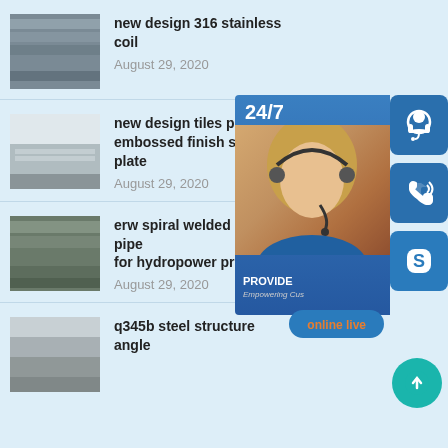new design 316 stainless coil — August 29, 2020
new design tiles po embossed finish st plate — August 29, 2020
erw spiral welded steel pipe for hydropower projects — August 29, 2020
q345b steel structure angle
[Figure (screenshot): Customer support overlay with 24/7 label, woman with headset, PROVIDE / Empowering Customers text, and three icon buttons (headset, phone, Skype) on the right side, plus an 'online live' button and a teal scroll-to-top arrow button.]